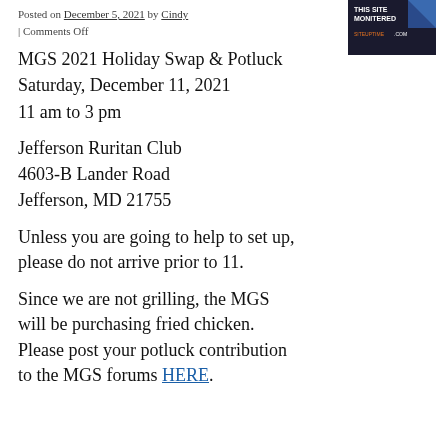Posted on December 5, 2021 by Cindy | Comments Off
[Figure (logo): THIS SITE MONITERED SITEUPTIME.COM badge]
MGS 2021 Holiday Swap & Potluck
Saturday, December 11, 2021
11 am to 3 pm
Jefferson Ruritan Club
4603-B Lander Road
Jefferson, MD 21755
Unless you are going to help to set up, please do not arrive prior to 11.
Since we are not grilling, the MGS will be purchasing fried chicken. Please post your potluck contribution to the MGS forums HERE.